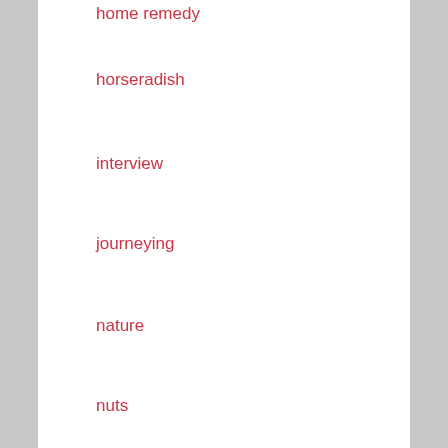home remedy
horseradish
interview
journeying
nature
nuts
phloem
plant spirits
plants
poetry
power
raspberries
recipe